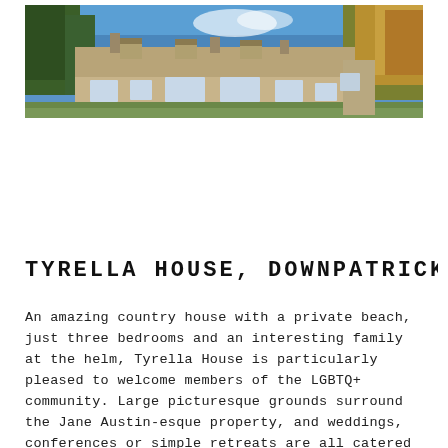[Figure (photo): Panoramic photo of a large stone country house (Tyrella House) under a blue sky with trees on both sides and greenery in the foreground.]
TYRELLA HOUSE, DOWNPATRICK NI
An amazing country house with a private beach, just three bedrooms and an interesting family at the helm, Tyrella House is particularly pleased to welcome members of the LGBTQ+ community. Large picturesque grounds surround the Jane Austin-esque property, and weddings, conferences or simple retreats are all catered for. There's free wifi but given